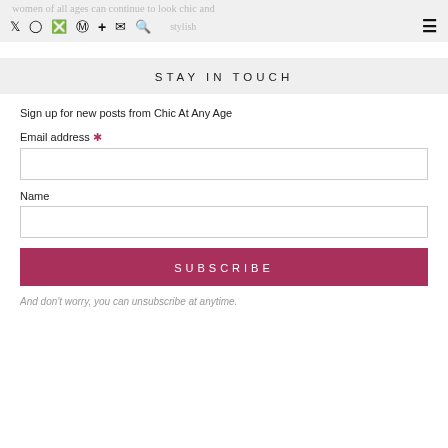women of all ages can continue to look chic and stylish
STAY IN TOUCH
Sign up for new posts from Chic At Any Age
Email address *
Name
SUBSCRIBE
And don't worry, you can unsubscribe at anytime.